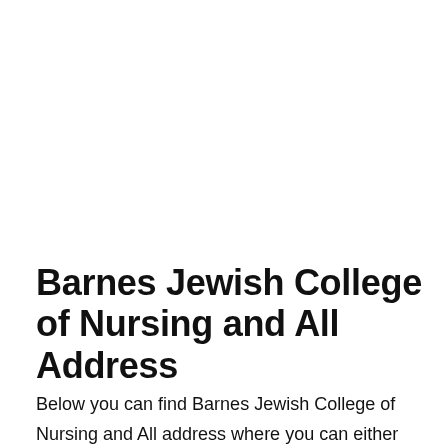Barnes Jewish College of Nursing and All Address
Below you can find Barnes Jewish College of Nursing and All address where you can either send mail or visit Barnes Jewish College of